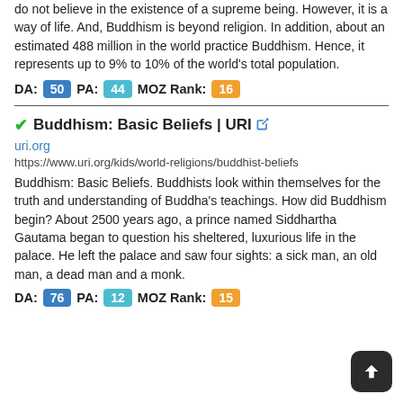do not believe in the existence of a supreme being. However, it is a way of life. And, Buddhism is beyond religion. In addition, about an estimated 488 million in the world practice Buddhism. Hence, it represents up to 9% to 10% of the world's total population.
DA: 50 PA: 44 MOZ Rank: 16
Buddhism: Basic Beliefs | URI
uri.org
https://www.uri.org/kids/world-religions/buddhist-beliefs
Buddhism: Basic Beliefs. Buddhists look within themselves for the truth and understanding of Buddha's teachings. How did Buddhism begin? About 2500 years ago, a prince named Siddhartha Gautama began to question his sheltered, luxurious life in the palace. He left the palace and saw four sights: a sick man, an old man, a dead man and a monk.
DA: 76 PA: 12 MOZ Rank: 15